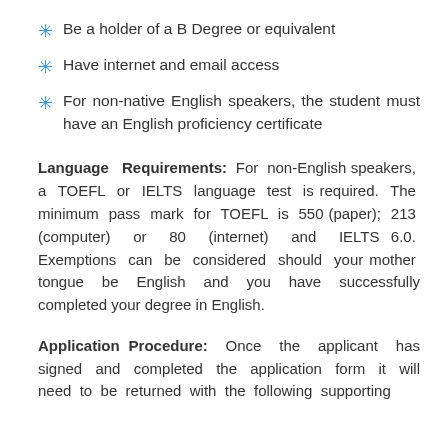Be a holder of a B Degree or equivalent
Have internet and email access
For non-native English speakers, the student must have an English proficiency certificate
Language Requirements: For non-English speakers, a TOEFL or IELTS language test is required. The minimum pass mark for TOEFL is 550 (paper); 213 (computer) or 80 (internet) and IELTS 6.0. Exemptions can be considered should your mother tongue be English and you have successfully completed your degree in English.
Application Procedure: Once the applicant has signed and completed the application form it will need to be returned with the following supporting